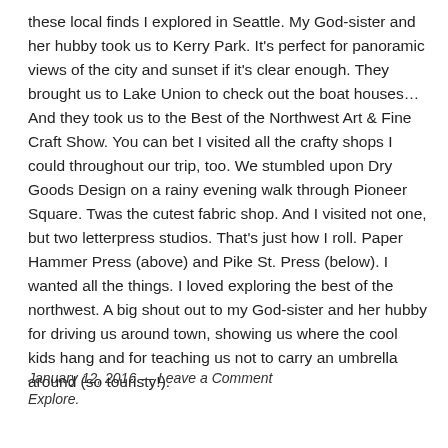these local finds I explored in Seattle. My God-sister and her hubby took us to Kerry Park. It's perfect for panoramic views of the city and sunset if it's clear enough. They brought us to Lake Union to check out the boat houses… And they took us to the Best of the Northwest Art & Fine Craft Show. You can bet I visited all the crafty shops I could throughout our trip, too. We stumbled upon Dry Goods Design on a rainy evening walk through Pioneer Square. Twas the cutest fabric shop. And I visited not one, but two letterpress studios. That's just how I roll. Paper Hammer Press (above) and Pike St. Press (below). I wanted all the things. I loved exploring the best of the northwest. A big shout out to my God-sister and her hubby for driving us around town, showing us where the cool kids hang and for teaching us not to carry an umbrella around (so touristy!).
January 12, 2016 — Leave a Comment
Explore.